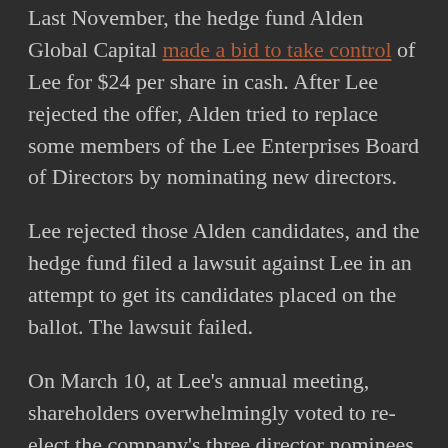Last November, the hedge fund Alden Global Capital made a bid to take control of Lee for $24 per share in cash. After Lee rejected the offer, Alden tried to replace some members of the Lee Enterprises Board of Directors by nominating new directors.
Lee rejected those Alden candidates, and the hedge fund filed a lawsuit against Lee in an attempt to get its candidates placed on the ballot. The lawsuit failed.
On March 10, at Lee's annual meeting, shareholders overwhelmingly voted to re-elect the company's three director nominees – Chairman Mary Junck, Lead Independent Director Herb Moloney and Mr. Mowbray.